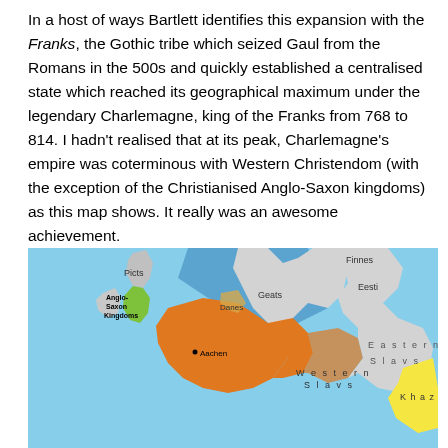In a host of ways Bartlett identifies this expansion with the Franks, the Gothic tribe which seized Gaul from the Romans in the 500s and quickly established a centralised state which reached its geographical maximum under the legendary Charlemagne, king of the Franks from 768 to 814. I hadn't realised that at its peak, Charlemagne's empire was coterminous with Western Christendom (with the exception of the Christianised Anglo-Saxon kingdoms) as this map shows. It really was an awesome achievement.
[Figure (map): Historical map of Europe showing Charlemagne's empire and surrounding peoples/kingdoms circa 800 AD. Shows Anglo-Saxon Kingdoms (green, in Britain), Frankish territory (orange), Picts (grey, northern Britain), Danes, Geats, Finnes, Eesti, Eastern Slavs, Western Slavs, Khazars (yellow), with Aachen marked. Water shown in blue.]